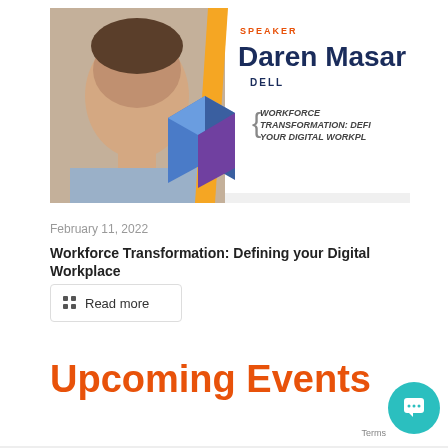[Figure (photo): Speaker card showing Daren Masar from Dell, with photo of a man, orange and blue geometric shapes, and text: WORKFORCE TRANSFORMATION: DEFINING YOUR DIGITAL WORKPLACE]
February 11, 2022
Workforce Transformation: Defining your Digital Workplace
Read more
Upcoming Events